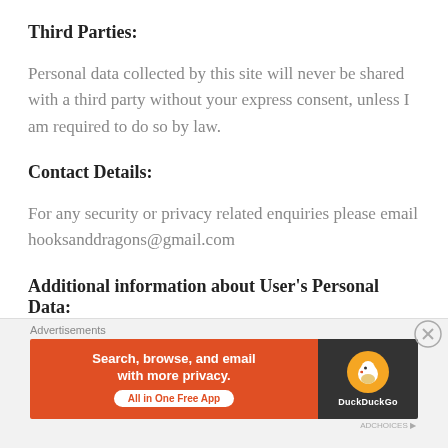Third Parties:
Personal data collected by this site will never be shared with a third party without your express consent, unless I am required to do so by law.
Contact Details:
For any security or privacy related enquiries please email hooksanddragons@gmail.com
Additional information about User's Personal Data:
[Figure (infographic): DuckDuckGo advertisement banner: orange left panel with text 'Search, browse, and email with more privacy. All in One Free App', dark right panel with DuckDuckGo duck logo. Above banner: 'Advertisements' label. Close button (X in circle) at top right of ad area.]